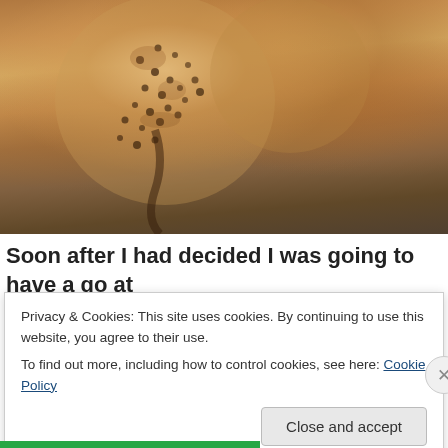[Figure (photo): Close-up photograph of toasted crumpets with honeycomb texture, golden brown and buttery, split open showing interior]
Soon after I had decided I was going to have a go at
Privacy & Cookies: This site uses cookies. By continuing to use this website, you agree to their use.
To find out more, including how to control cookies, see here: Cookie Policy
Close and accept